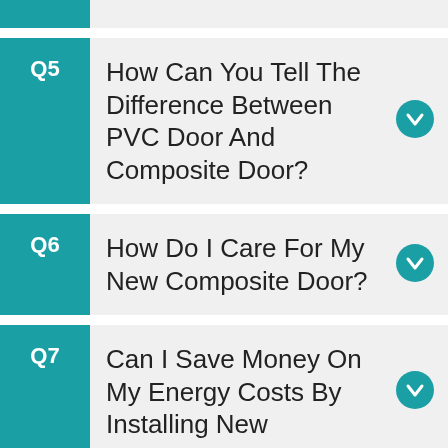Q5 How Can You Tell The Difference Between PVC Door And Composite Door?
Q6 How Do I Care For My New Composite Door?
Q7 Can I Save Money On My Energy Costs By Installing New Windows And Doors?